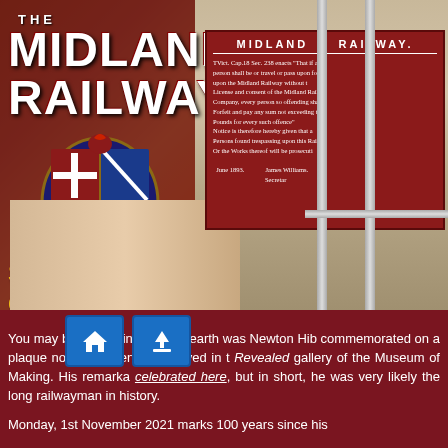[Figure (photo): Photo of a museum interior showing scaffolding and a large red Midland Railway trespass notice sign, with the Midland Railway Study Centre logo (coat of arms with 'MID LAND' banner) overlaid on the left side]
THE MIDLAND RAILWAY
STUDY CENTRE
[Figure (other): Two blue navigation buttons: a home icon button and an upload/arrow-up icon button]
You may be wondering who on earth was Newton Hib commemorated on a plaque now prominently displayed in t Revealed gallery of the Museum of Making. His remarka celebrated here, but in short, he was very likely the long railwayman in history.
Monday, 1st November 2021 marks 100 years since his